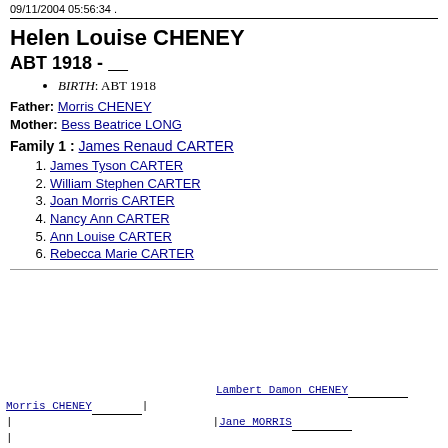09/11/2004 05:56:34 .
Helen Louise CHENEY
ABT 1918 - ____
BIRTH: ABT 1918
Father: Morris CHENEY
Mother: Bess Beatrice LONG
Family 1 : James Renaud CARTER
1. James Tyson CARTER
2. William Stephen CARTER
3. Joan Morris CARTER
4. Nancy Ann CARTER
5. Ann Louise CARTER
6. Rebecca Marie CARTER
Lambert Damon CHENEY
Morris CHENEY
Jane MORRIS